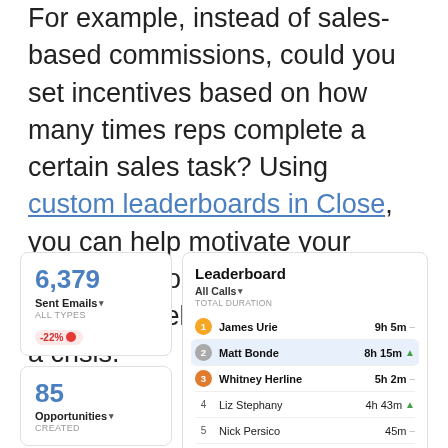For example, instead of sales-based commissions, could you set incentives based on how many times reps complete a certain sales task? Using custom leaderboards in Close, you can help motivate your sales reps to complete specific tasks and sell more, even during a crisis.
[Figure (screenshot): Two UI cards on the left (6,379 Sent Emails, -22% badge and 85 Opportunities Created) and a Leaderboard card on the right showing All Calls TOTAL DURATION with 5 entries: 1. James Urie 9h 5m, 2. Matt Bonde 8h 15m (highlighted), 3. Whitney Herline 5h 2m, 4. Liz Stephany 4h 43m, 5. Nick Persico 45m, and a partially visible 6th row.]